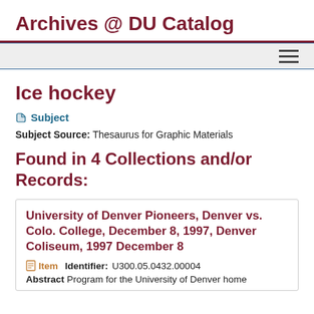Archives @ DU Catalog
Ice hockey
Subject
Subject Source: Thesaurus for Graphic Materials
Found in 4 Collections and/or Records:
University of Denver Pioneers, Denver vs. Colo. College, December 8, 1997, Denver Coliseum, 1997 December 8
Item   Identifier: U300.05.0432.00004
Abstract Program for the University of Denver home